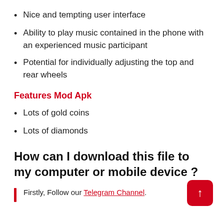Nice and tempting user interface
Ability to play music contained in the phone with an experienced music participant
Potential for individually adjusting the top and rear wheels
Features Mod Apk
Lots of gold coins
Lots of diamonds
How can I download this file to my computer or mobile device ?
Firstly, Follow our Telegram Channel.